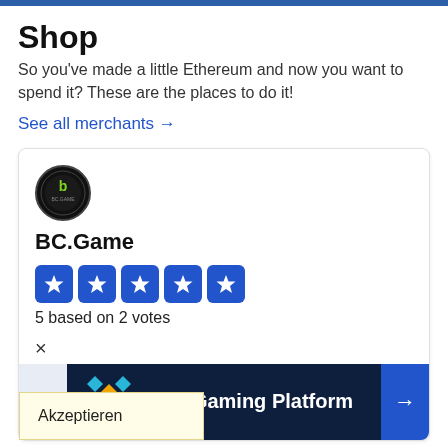Shop
So you've made a little Ethereum and now you want to spend it? These are the places to do it!
See all merchants →
[Figure (logo): BC.Game circular logo with green B icon on black background]
BC.Game
[Figure (infographic): 5 blue star rating boxes]
5 based on 2 votes
×
[Figure (screenshot): NFT Gaming Platform banner with blue/gold token icon on dark navy background]
Akzeptieren